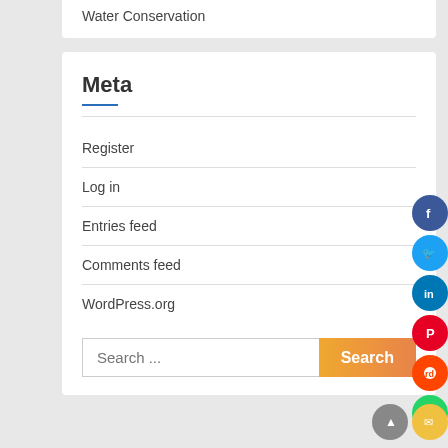Water Conservation
Meta
Register
Log in
Entries feed
Comments feed
WordPress.org
Search ...